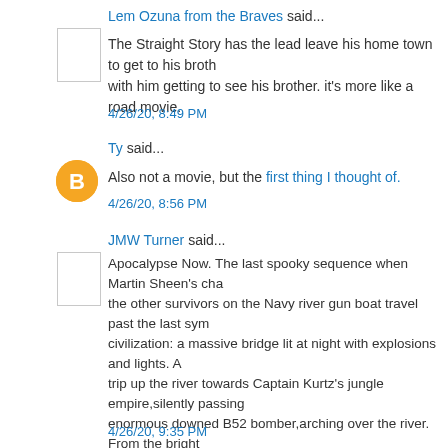Lem Ozuna from the Braves said...
The Straight Story has the lead leave his home town to get to his brother with him getting to see his brother. it's more like a road movie.
4/26/20, 8:49 PM
Ty said...
Also not a movie, but the first thing I thought of.
4/26/20, 8:56 PM
JMW Turner said...
Apocalypse Now. The last spooky sequence when Martin Sheen's character and the other survivors on the Navy river gun boat travel past the last symbol of civilization: a massive bridge lit at night with explosions and lights. A trip up the river towards Captain Kurtz's jungle empire,silently passing an enormous downed B52 bomber,arching over the river. From the bright nightmare of modern warfare to the heart of darkness.
4/26/20, 9:35 PM